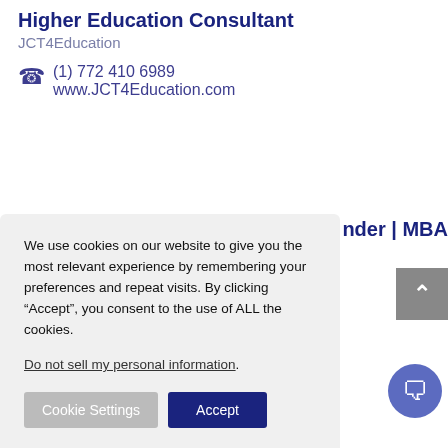Higher Education Consultant
JCT4Education
(1) 772 410 6989
www.JCT4Education.com
nder | MBA
We use cookies on our website to give you the most relevant experience by remembering your preferences and repeat visits. By clicking “Accept”, you consent to the use of ALL the cookies.
Do not sell my personal information.
Cookie Settings
Accept